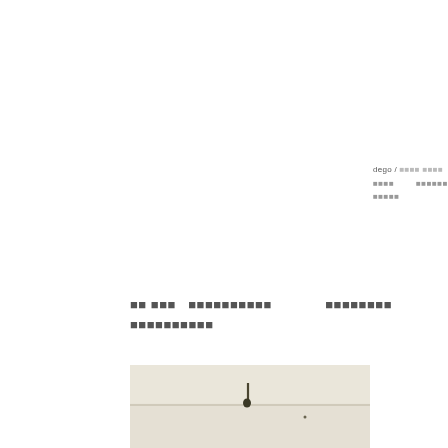dego / □□□□ □□□□
□□□□        □□□□□□
□□□□□
□□ □□□   □□□□□□□□□□             □□□□□□□□
□□□□□□□□□□
[Figure (photo): A small dark object (appears to be a nail or hook) on a light beige/cream surface with a horizontal line or seam running across the middle of the image.]